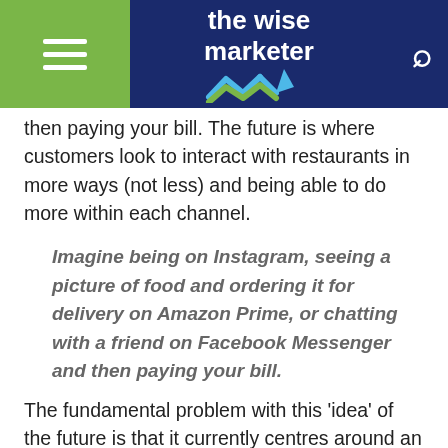the wise marketer
then paying your bill. The future is where customers look to interact with restaurants in more ways (not less) and being able to do more within each channel.
Imagine being on Instagram, seeing a picture of food and ordering it for delivery on Amazon Prime, or chatting with a friend on Facebook Messenger and then paying your bill.
The fundamental problem with this 'idea' of the future is that it currently centres around an order pad connecting with the restaurant POS. The result is the Front of House looking like the sales counter of an independent tech retailer